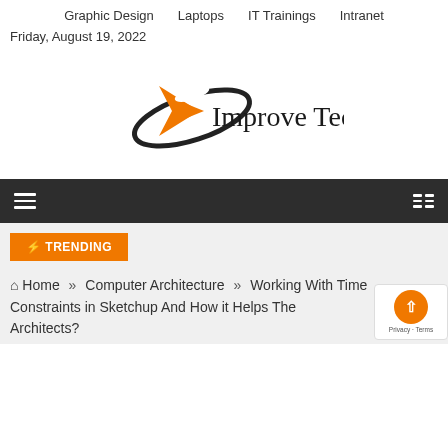Graphic Design   Laptops   IT Trainings   Intranet
Friday, August 19, 2022
[Figure (logo): Improve Tech logo with orange arrow/rocket shape and black orbital ring, text 'Improve Tech' in serif font]
Navigation bar with hamburger menu icon on left and grid icon on right
⚡ TRENDING
Home » Computer Architecture » Working With Time Constraints in Sketchup And How it Helps The Architects?